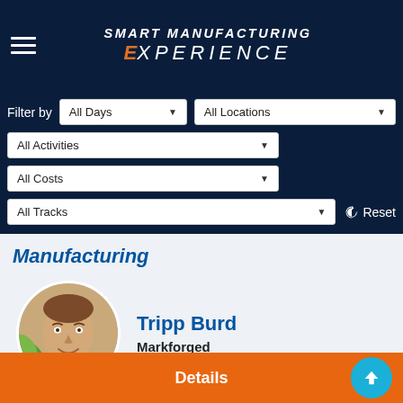[Figure (screenshot): Smart Manufacturing Experience app header with hamburger menu and logo]
Filter by  All Days▼  All Locations▼
All Activities▼
All Costs▼
All Tracks▼  Reset
Manufacturing
[Figure (photo): Portrait photo of Tripp Burd, circular crop]
Tripp Burd
Markforged
Details